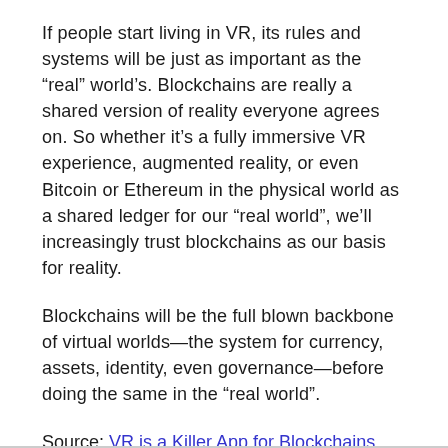If people start living in VR, its rules and systems will be just as important as the “real” world’s. Blockchains are really a shared version of reality everyone agrees on. So whether it’s a fully immersive VR experience, augmented reality, or even Bitcoin or Ethereum in the physical world as a shared ledger for our “real world”, we’ll increasingly trust blockchains as our basis for reality.
Blockchains will be the full blown backbone of virtual worlds—the system for currency, assets, identity, even governance—before doing the same in the “real world”.
Source: VR is a Killer App for Blockchains